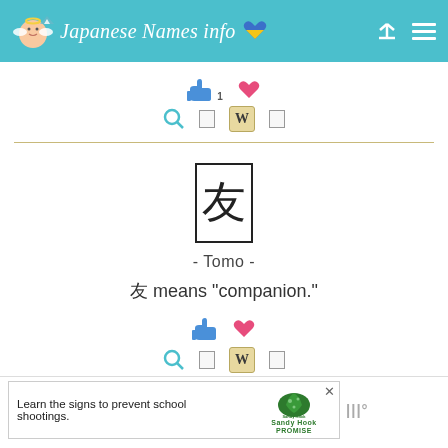Japanese Names info
[Figure (screenshot): Like button with count 1 and heart/favorite icon]
[Figure (screenshot): Search icon, placeholder box icon, Wiktionary W icon, placeholder box icon]
[Figure (other): Kanji character 友 inside a bordered rectangle box]
- Tomo -
友 means "companion."
[Figure (screenshot): Like/thumbs-up icon and heart icon]
[Figure (screenshot): Search icon, placeholder icon, Wiktionary W tile icon, placeholder icon]
[Figure (screenshot): Ad banner: Learn the signs to prevent school shootings. Sandy Hook Promise logo. Close button.]